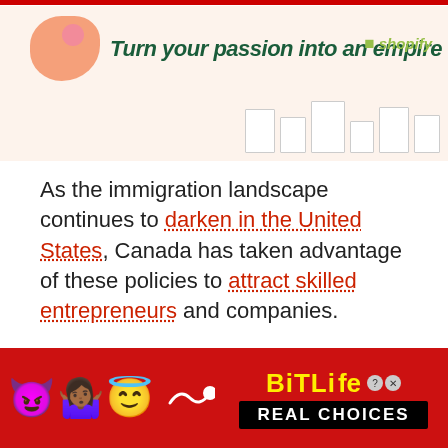[Figure (illustration): Shopify advertisement banner with text 'Turn your passion into an empire' on a light peach background with orange blob decoration and framed images on the right, Shopify logo in top right corner]
As the immigration landscape continues to darken in the United States, Canada has taken advantage of these policies to attract skilled entrepreneurs and companies.
The acceptance of the H1B visa in the United States has continued to fall. 3 years ago, these numbers were above 90% for the right candidates. Today, the figures are closer to 50%. Companie
[Figure (illustration): BitLife mobile game advertisement on red background with emoji characters (devil, woman with hands up, angel) and BitLife logo in yellow text with 'REAL CHOICES' in white on black banner]